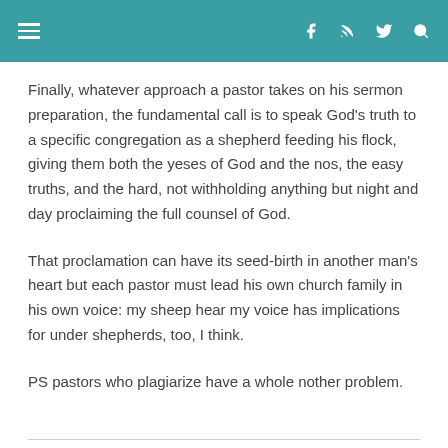navigation header with menu icon and social icons
Finally, whatever approach a pastor takes on his sermon preparation, the fundamental call is to speak God's truth to a specific congregation as a shepherd feeding his flock, giving them both the yeses of God and the nos, the easy truths, and the hard, not withholding anything but night and day proclaiming the full counsel of God.
That proclamation can have its seed-birth in another man's heart but each pastor must lead his own church family in his own voice: my sheep hear my voice has implications for under shepherds, too, I think.
PS pastors who plagiarize have a whole nother problem.